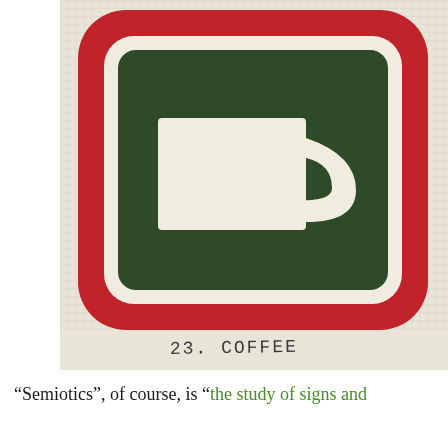[Figure (photo): A hand-stitched or pixel-art style image on graph paper showing a logo resembling the Square (payment) logo — a dark green rounded square with a white inner border, containing a white coffee cup shape. The outer border is red/rounded. Below the image in pencil handwriting reads '23. COFFEE'.]
“Semiotics”, of course, is “the study of signs and